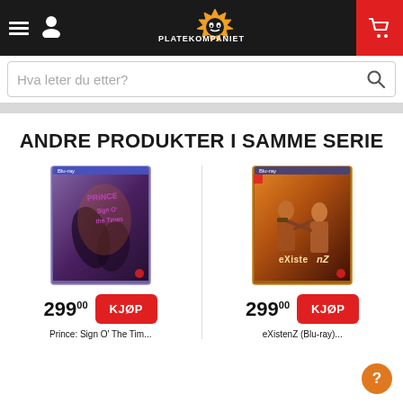Platekompaniet navigation header with hamburger menu, user icon, logo, and cart
Hva leter du etter?
ANDRE PRODUKTER I SAMME SERIE
[Figure (photo): Prince - Sign O' The Times Blu-ray cover]
299,00 KJØP
[Figure (photo): eXistenZ movie Blu-ray cover]
299,00 KJØP